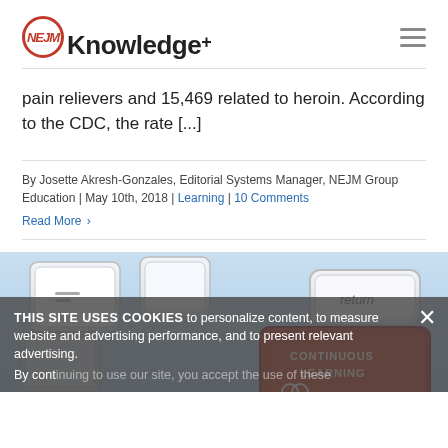NEJM Knowledge+
pain relievers and 15,469 related to heroin. According to the CDC, the rate [...]
By Josette Akresh-Gonzales, Editorial Systems Manager, NEJM Group Education | May 10th, 2018 | Learning | 10 Comments
Read More
[Figure (photo): Close-up photo of keyboard keys including a red key labeled CONTINUOUS LEARNING and another key showing 'return']
THIS SITE USES COOKIES to personalize content, to measure website and advertising performance, and to present relevant advertising.
By continuing to use our site, you accept the use of these